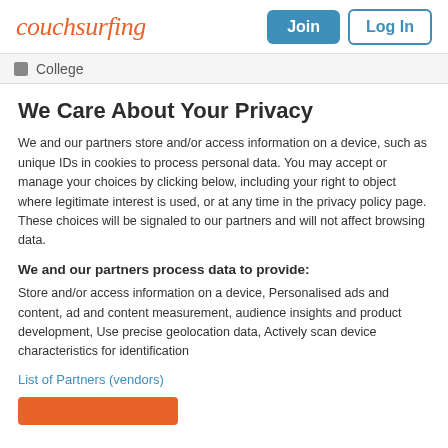couchsurfing | Join | Log In
College
We Care About Your Privacy
We and our partners store and/or access information on a device, such as unique IDs in cookies to process personal data. You may accept or manage your choices by clicking below, including your right to object where legitimate interest is used, or at any time in the privacy policy page. These choices will be signaled to our partners and will not affect browsing data.
We and our partners process data to provide:
Store and/or access information on a device, Personalised ads and content, ad and content measurement, audience insights and product development, Use precise geolocation data, Actively scan device characteristics for identification
List of Partners (vendors)